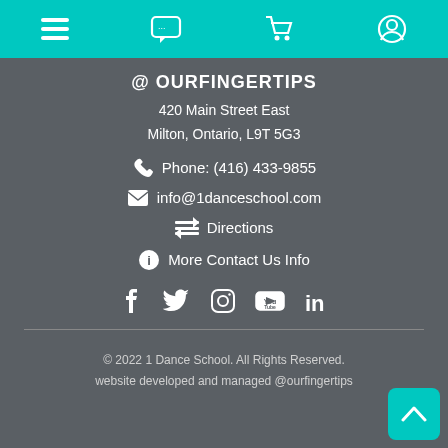[Figure (screenshot): Top navigation bar with teal background containing hamburger menu, chat bubble, shopping cart, and user profile icons]
@ OURFINGERTIPS
420 Main Street East
Milton, Ontario, L9T 5G3
Phone: (416) 433-9855
info@1danceschool.com
Directions
More Contact Us Info
[Figure (infographic): Social media icons row: Facebook, Twitter, Instagram, YouTube, LinkedIn]
© 2022 1 Dance School. All Rights Reserved.
website developed and managed @ourfingertips